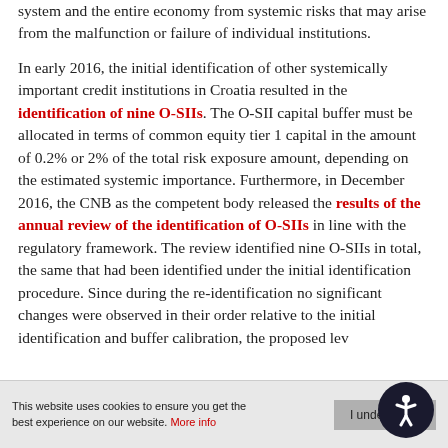system and the entire economy from systemic risks that may arise from the malfunction or failure of individual institutions.

In early 2016, the initial identification of other systemically important credit institutions in Croatia resulted in the identification of nine O-SIIs. The O-SII capital buffer must be allocated in terms of common equity tier 1 capital in the amount of 0.2% or 2% of the total risk exposure amount, depending on the estimated systemic importance. Furthermore, in December 2016, the CNB as the competent body released the results of the annual review of the identification of O-SIIs in line with the regulatory framework. The review identified nine O-SIIs in total, the same that had been identified under the initial identification procedure. Since during the re-identification no significant changes were observed in their order relative to the initial identification and buffer calibration, the proposed level of O-SII capital buffers remained the same.
This website uses cookies to ensure you get the best experience on our website. More info